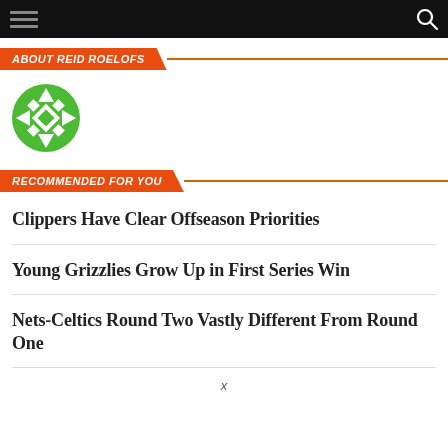ABOUT REID ROELOFS
[Figure (logo): Green geometric circular avatar icon made of diamond/arrow shapes arranged in a snowflake-like pattern]
RECOMMENDED FOR YOU
Clippers Have Clear Offseason Priorities
Young Grizzlies Grow Up in First Series Win
Nets-Celtics Round Two Vastly Different From Round One
x